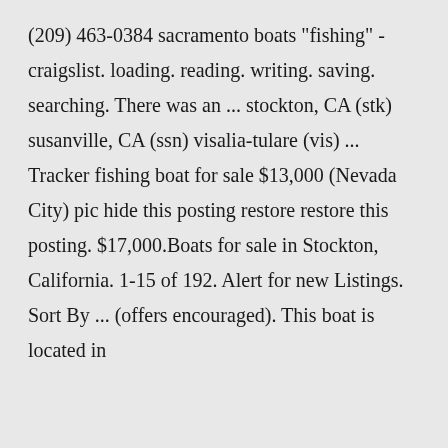(209) 463-0384 sacramento boats "fishing" - craigslist. loading. reading. writing. saving. searching. There was an ... stockton, CA (stk) susanville, CA (ssn) visalia-tulare (vis) ... Tracker fishing boat for sale $13,000 (Nevada City) pic hide this posting restore restore this posting. $17,000.Boats for sale in Stockton, California. 1-15 of 192. Alert for new Listings. Sort By ... (offers encouraged). This boat is located in